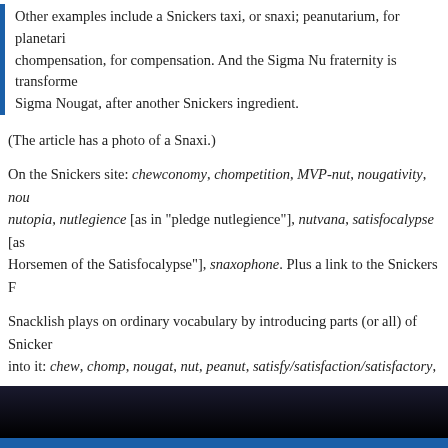Other examples include a Snickers taxi, or snaxi; peanutarium, for planetarium; chompensation, for compensation. And the Sigma Nu fraternity is transformed into Sigma Nougat, after another Snickers ingredient.
(The article has a photo of a Snaxi.)
On the Snickers site: chewconomy, chompetition, MVP-nut, nougativity, nou... nutopia, nutlegience [as in "pledge nutlegience"], nutvana, satisfocalypse [as... Horsemen of the Satisfocalypse"], snaxophone. Plus a link to the Snickers F...
Snacklish plays on ordinary vocabulary by introducing parts (or all) of Snickers into it: chew, chomp, nougat, nut, peanut, satisfy/satisfaction/satisfactory, sna... game to play, but some of the combinations are stretches, and need some c... interpretable.
March 10, 2009 @ 11:55 am · Filed by Arnold Zwicky under Language and advertising
Permalink
Comments are closed.